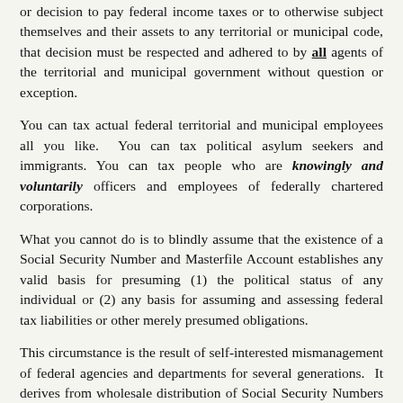or decision to pay federal income taxes or to otherwise subject themselves and their assets to any territorial or municipal code, that decision must be respected and adhered to by all agents of the territorial and municipal government without question or exception.
You can tax actual federal territorial and municipal employees all you like.  You can tax political asylum seekers and immigrants.  You can tax people who are knowingly and voluntarily officers and employees of federally chartered corporations.
What you cannot do is to blindly assume that the existence of a Social Security Number and Masterfile Account establishes any valid basis for presuming (1) the political status of any individual or (2) any basis for assuming and assessing federal tax liabilities or other merely presumed obligations.
This circumstance is the result of self-interested mismanagement of federal agencies and departments for several generations.  It derives from wholesale distribution of Social Security Numbers and accounts by the Social Security Administration without respect for the limitations imposed by the actual law and without fully disclosing conditions and duties of acceptance of the offer...